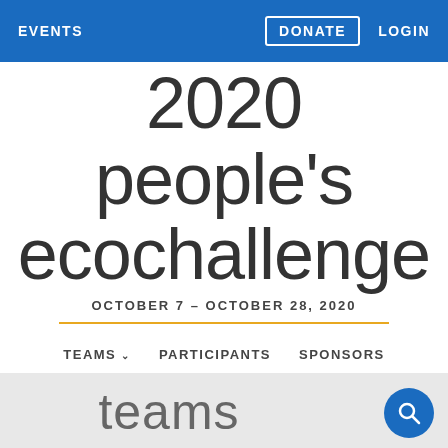EVENTS  DONATE  LOGIN
2020 people's ecochallenge
OCTOBER 7 – OCTOBER 28, 2020
TEAMS  PARTICIPANTS  SPONSORS  RESOURCES
teams